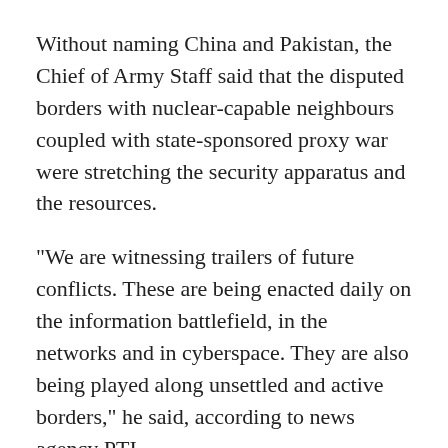Without naming China and Pakistan, the Chief of Army Staff said that the disputed borders with nuclear-capable neighbours coupled with state-sponsored proxy war were stretching the security apparatus and the resources.
"We are witnessing trailers of future conflicts. These are being enacted daily on the information battlefield, in the networks and in cyberspace. They are also being played along unsettled and active borders," he said, according to news agency PTI.
"It is for us now to visualise the battlefield contours of tomorrow based on these trailers. If you look around, you will realise the reality of today," he said.
The Army Chief said the developments on the